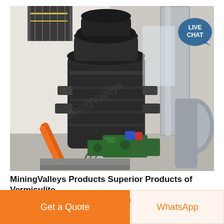[Figure (photo): Industrial mining machinery — a large vertical grinding mill (dark/black) in a factory building, with green motor units at the base, an orange hydraulic arm, large silver ventilation ducts on the right, and a yellow staircase/platform visible in the upper left background.]
MiningValleys Products Superior Products of Vermiculite
Mon metallic Mining Products Being located in the north of China with